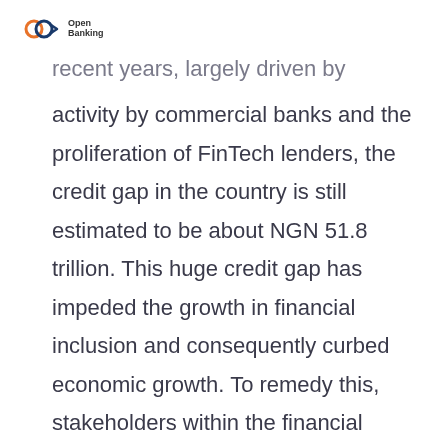Open Banking
recent years, largely driven by increased lending activity by commercial banks and the proliferation of FinTech lenders, the credit gap in the country is still estimated to be about NGN 51.8 trillion. This huge credit gap has impeded the growth in financial inclusion and consequently curbed economic growth. To remedy this, stakeholders within the financial ecosystem have different roles to play in addressing the credit gap and increasing access to credit in the country. Lenders, for example, must improve credit risk management and reporting in order to fully understand borrowers and provide innovative credit products that will be tailored to the